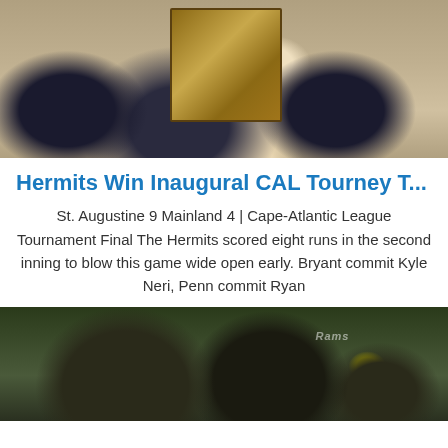[Figure (photo): Baseball players in dark jerseys holding a Cape Atlantic League Baseball plaque/trophy]
Hermits Win Inaugural CAL Tourney T...
St. Augustine 9 Mainland 4 | Cape-Atlantic League Tournament Final The Hermits scored eight runs in the second inning to blow this game wide open early. Bryant commit Kyle Neri, Penn commit Ryan
[Figure (photo): Lacrosse players wearing dark helmets with gold/yellow accents, one helmet visible with Rams logo]